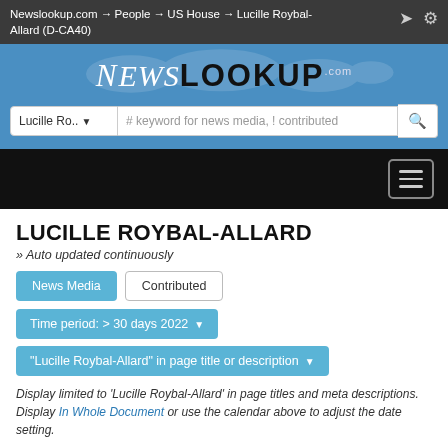Newslookup.com → People → US House → Lucille Roybal-Allard (D-CA40)
[Figure (logo): NewsLookup.com logo on blue banner background with world map watermark]
Lucille Ro.. ▾  # keyword for news media, ! contributed
LUCILLE ROYBAL-ALLARD
» Auto updated continuously
News Media   Contributed
Time period: > 30 days 2022 ▾
"Lucille Roybal-Allard" in page title or description ▾
Display limited to 'Lucille Roybal-Allard' in page titles and meta descriptions. Display In Whole Document or use the calendar above to adjust the date setting.
2022-01-03 17:17